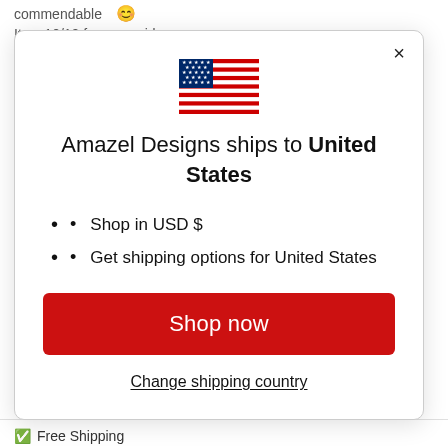commendable 😊
Its a 10/10 from my side
[Figure (screenshot): Modal dialog showing US flag and shipping info for Amazel Designs to United States, with Shop now button and Change shipping country link]
Shop in USD $
Get shipping options for United States
Shop now
Change shipping country
Free Shipping